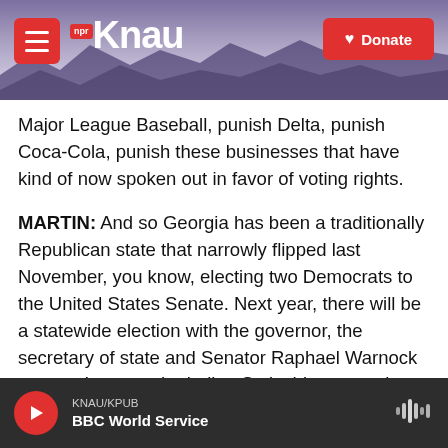KNAU NPR / Donate
Major League Baseball, punish Delta, punish Coca-Cola, punish these businesses that have kind of now spoken out in favor of voting rights.
MARTIN: And so Georgia has been a traditionally Republican state that narrowly flipped last November, you know, electing two Democrats to the United States Senate. Next year, there will be a statewide election with the governor, the secretary of state and Senator Raphael Warnock among those on the ballot. So is this new voting law shaping - or how is it shaping next year's races?
FOWLER: Well, Michel, it's dominating discussions
KNAU/KPUB | BBC World Service